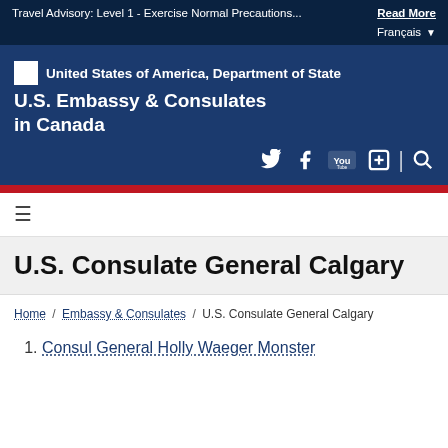Travel Advisory: Level 1 - Exercise Normal Precautions... Read More
Français
[Figure (logo): United States of America, Department of State logo and U.S. Embassy & Consulates in Canada header]
U.S. Consulate General Calgary
Home / Embassy & Consulates / U.S. Consulate General Calgary
Consul General Holly Waeger Monster